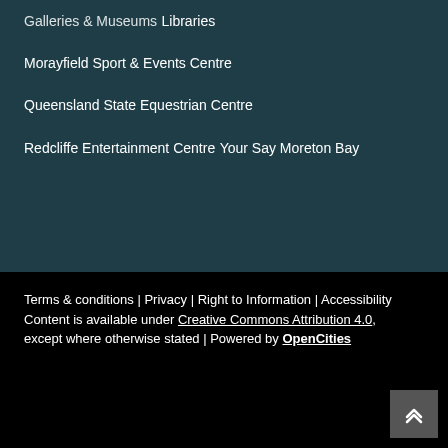Galleries & Museums
Libraries
Morayfield Sport & Events Centre
Queensland State Equestrian Centre
Redcliffe Entertainment Centre
Your Say Moreton Bay
Terms & conditions | Privacy | Right to Information | Accessibility
Content is available under Creative Commons Attribution 4.0, except where otherwise stated | Powered by OpenCities